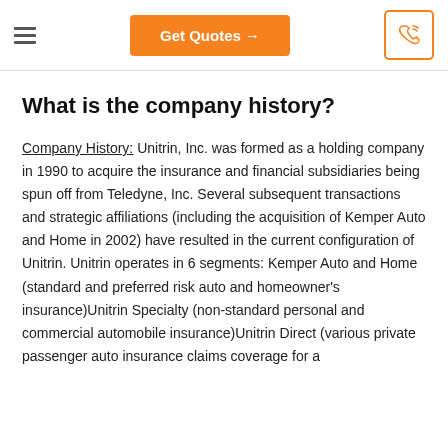Get Quotes →
What is the company history?
Company History: Unitrin, Inc. was formed as a holding company in 1990 to acquire the insurance and financial subsidiaries being spun off from Teledyne, Inc. Several subsequent transactions and strategic affiliations (including the acquisition of Kemper Auto and Home in 2002) have resulted in the current configuration of Unitrin. Unitrin operates in 6 segments: Kemper Auto and Home (standard and preferred risk auto and homeowner's insurance)Unitrin Specialty (non-standard personal and commercial automobile insurance)Unitrin Direct (various private passenger auto insurance claims coverage for a